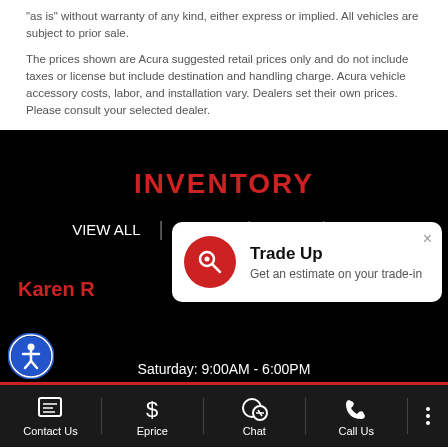as is without warranty of any kind, either express or implied. All vehicles are subject to prior sale.
The prices shown are Acura suggested retail prices only and do not include taxes or license but include destination and handling charge. Acura vehicle accessory costs, labor, and installation vary. Dealers set their own prices. Please consult your selected dealer.
INVENTORY
VIEW ALL | Integra | MDX | RDX
Karen R
[Figure (screenshot): Trade Up popup notification with red circular key icon, title 'Trade Up' and subtitle 'Get an estimate on your trade-in']
Saturday: 9:00AM - 6:00PM
Contact Us | Eprice | Chat | Call Us | more